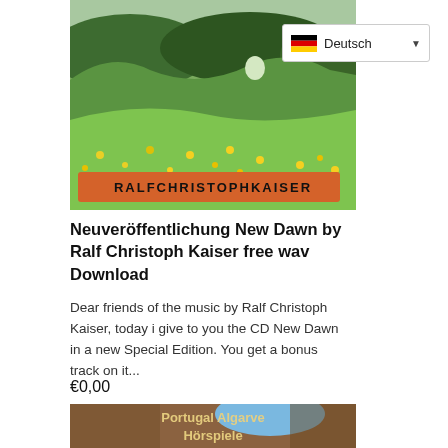[Figure (photo): Landscape photo showing green rolling hills with yellow wildflowers, forest in background, with an orange banner reading RALFCHRISTOPHKAISER at the bottom of the image]
[Figure (screenshot): Language selector UI element showing German flag and text 'Deutsch' with dropdown arrow]
Neuveröffentlichung New Dawn by Ralf Christoph Kaiser free wav Download
Dear friends of the music by Ralf Christoph Kaiser, today i give to you the CD New Dawn in a new Special Edition. You get a bonus track on it...
€0,00
[Figure (photo): Photo showing rocky cave/cliff formation with text 'Portugal Algarve Hörspiele' overlaid in white/gold text]